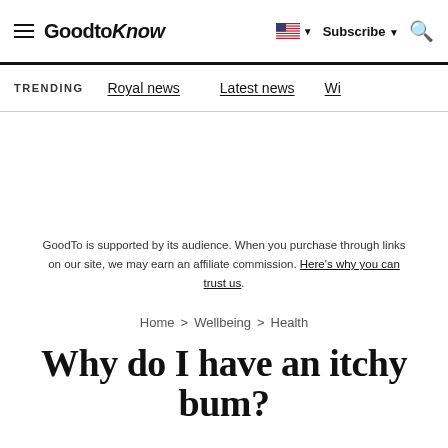GoodtoKnow — Subscribe | Search
TRENDING   Royal news   Latest news   Wi…
GoodTo is supported by its audience. When you purchase through links on our site, we may earn an affiliate commission. Here's why you can trust us.
Home > Wellbeing > Health
Why do I have an itchy bum?